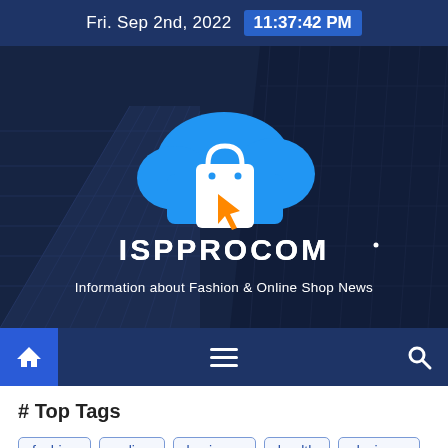Fri. Sep 2nd, 2022  11:37:42 PM
[Figure (screenshot): ISPPROCOM website hero banner with shopping bag cloud logo on a dark blue city building background. Text: ISPPROCOM — Information about Fashion & Online Shop News]
# Top Tags
fashion
online
business
health
designer
technology
clothes